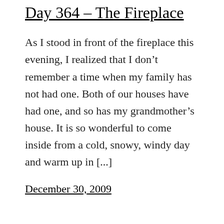Day 364 – The Fireplace
As I stood in front of the fireplace this evening, I realized that I don't remember a time when my family has not had one. Both of our houses have had one, and so has my grandmother's house. It is so wonderful to come inside from a cold, snowy, windy day and warm up in [...]
December 30, 2009